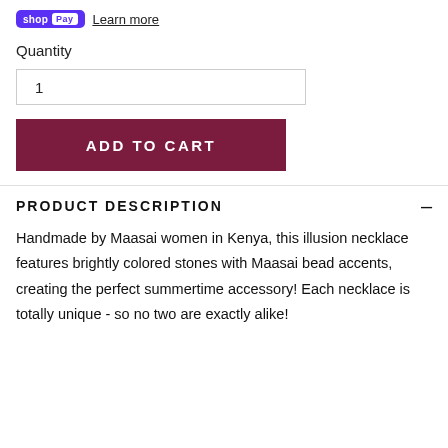shop Pay  Learn more
Quantity
1
ADD TO CART
PRODUCT DESCRIPTION
Handmade by Maasai women in Kenya, this illusion necklace features brightly colored stones with Maasai bead accents, creating the perfect summertime accessory! Each necklace is totally unique - so no two are exactly alike!